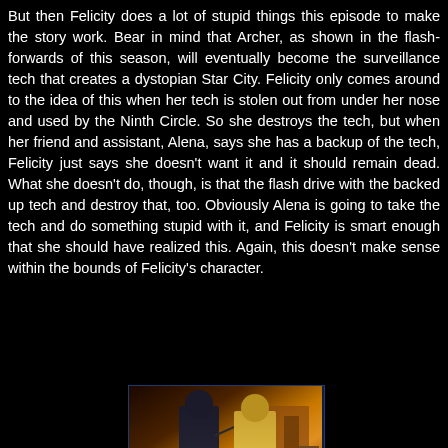But then Felicity does a lot of stupid things this episode to make the story work. Bear in mind that Archer, as shown in the flash-forwards of this season, will eventually become the surveillance tech that creates a dystopian Star City. Felicity only comes around to the idea of this when her tech is stolen out from under her nose and used by the Ninth Circle. So she destroys the tech, but when her friend and assistant, Alena, says she has a backup of the tech, Felicity just says she doesn't want it and it should remain dead. What she doesn't do, though, is that the flash drive with the backed up tech and destroy that, too. Obviously Alena is going to take the tech and do something stupid with it, and Felicity is smart enough that she should have realized this. Again, this doesn't make sense within the bounds of Felicity's character.
[Figure (photo): Top photo shows two costumed figures (one in dark green superhero costume, one in gold/bronze robotic suit) in a warehouse or urban setting with warm orange/yellow lighting. Bottom photo shows two men in civilian clothes facing each other, shot in a corridor with cool grey/white lighting.]